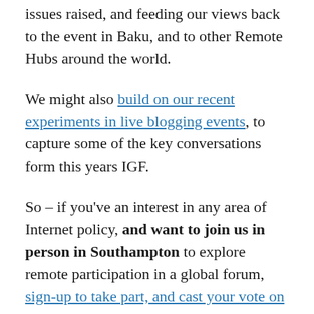issues raised, and feeding our views back to the event in Baku, and to other Remote Hubs around the world.
We might also build on our recent experiments in live blogging events, to capture some of the key conversations form this years IGF.
So – if you've an interest in any area of Internet policy, and want to join us in person in Southampton to explore remote participation in a global forum, sign-up to take part, and cast your vote on the sessions we should be taking part in.
Please register your interest by the end of